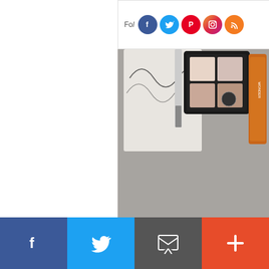[Figure (screenshot): Top social media follow bar with Facebook, Twitter, Pinterest, Instagram, RSS icons and 'Fol' text visible]
[Figure (photo): Makeup products photo showing Essence Quattro eyeshadow palettes in two colorways (neutral and purple/blue), along with other cosmetic items on a textured grey background]
Nea's May-June Giveaway!  En
0 Comments
Labels: giveaway
[Figure (infographic): Bottom share bar with four buttons: Facebook (dark blue), Twitter (light blue), message/email (grey), and plus/add (red-orange)]